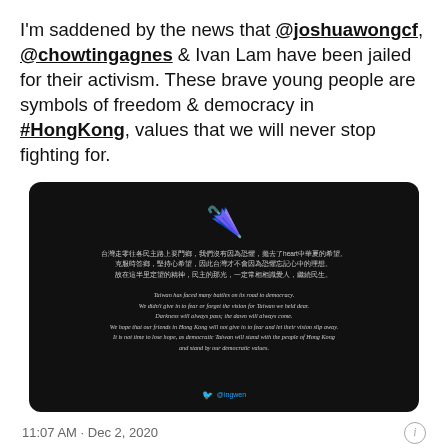I'm saddened by the news that @joshuawongcf, @chowtingagnes & Ivan Lam have been jailed for their activism. These brave young people are symbols of freedom & democracy in #HongKong, values that we will never stop fighting for.
[Figure (screenshot): Black background image with a yellow umbrella emoji at top, followed by Chinese text, then English text reading: 'Taiwan has faced many battles on its road to democracy. We didn't give in to fear or forget the vision for Taiwan we held dear. Darkness will always pass; the dawn will always come. We hope that our friends in Hong Kong will not give in to fear and let their vision slip away. It is not time to lose hope, as democratic Taiwan will stand with the people of Hong Kong and stand by our democratic values.' A Twitter bird logo and handle @ingwen appear at bottom.]
11:07 AM · Dec 2, 2020
21.9K   Reply   Copy link